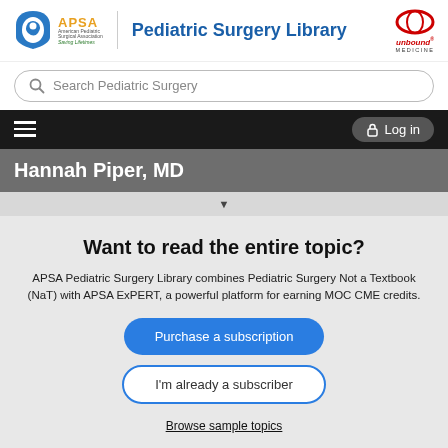[Figure (logo): APSA Pediatric Surgery Library header with APSA logo, site title, and Unbound Medicine logo]
Search Pediatric Surgery
[Figure (screenshot): Navigation bar with hamburger menu and Log in button]
Hannah Piper, MD
Want to read the entire topic?
APSA Pediatric Surgery Library combines Pediatric Surgery Not a Textbook (NaT) with APSA ExPERT, a powerful platform for earning MOC CME credits.
Purchase a subscription
I'm already a subscriber
Browse sample topics